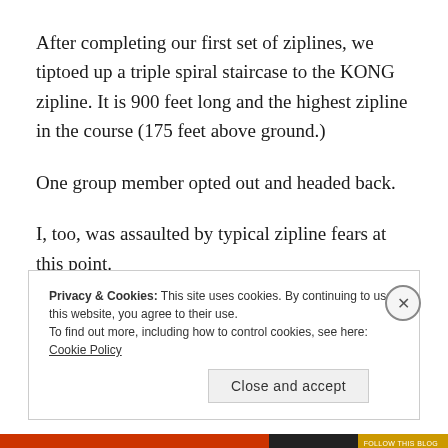After completing our first set of ziplines, we tiptoed up a triple spiral staircase to the KONG zipline.  It is 900 feet long and the highest zipline in the course (175 feet above ground.)
One group member opted out and headed back.
I, too, was assaulted by typical zipline fears at this point.
Privacy & Cookies: This site uses cookies. By continuing to use this website, you agree to their use.
To find out more, including how to control cookies, see here: Cookie Policy
Close and accept